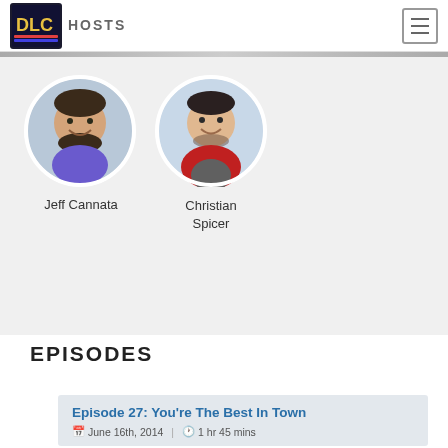DLC | HOSTS
[Figure (photo): Circular portrait of Jeff Cannata, smiling man with beard]
Jeff Cannata
[Figure (photo): Circular portrait of Christian Spicer, smiling man in red jacket]
Christian Spicer
EPISODES
Episode 27: You're The Best In Town
June 16th, 2014 | 1 hr 45 mins